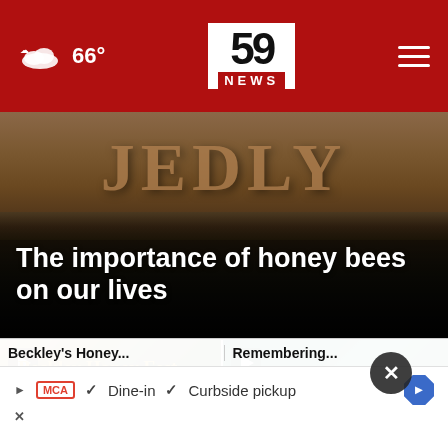59 NEWS — 66°
[Figure (photo): Hero photo showing wooden carved letters on a dark background with gradient fade to black at the bottom.]
The importance of honey bees on our lives
[Figure (photo): Thumbnail video still showing Beckley Honey Festival sign with bee graphic]
[Figure (photo): Thumbnail video still showing green highway sign reading U.S. Navy Seam...]
Dine-in  Curbside pickup
Beckley's Honey...   Remembering...